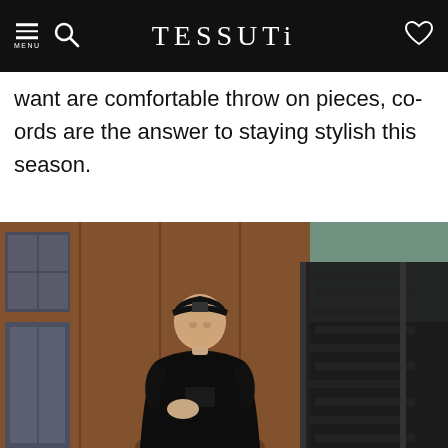TESSUTI
want are comfortable throw on pieces, co-ords are the answer to staying stylish this season.
[Figure (photo): A young man wearing a black hoodie and black baseball cap standing in front of a rust-coloured building with a dark metal exterior staircase, photographed in a lifestyle/fashion context for Tessuti.]